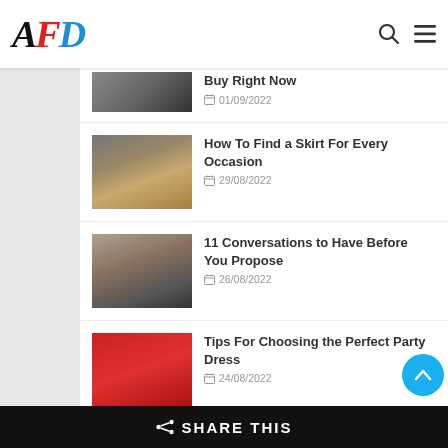AFD logo with search and menu icons
Buy Right Now
01/09/2022
How To Find a Skirt For Every Occasion
29/08/2022
11 Conversations to Have Before You Propose
26/08/2022
Tips For Choosing the Perfect Party Dress
24/08/2022
How to Choose the Right Shoes for Your
SHARE THIS